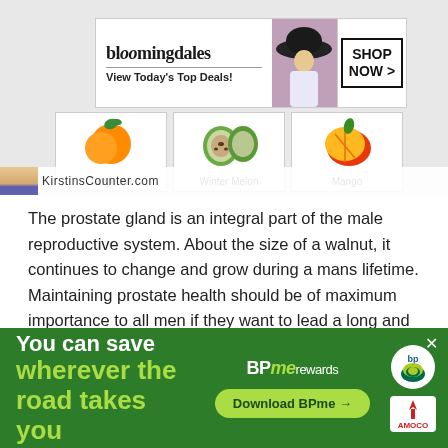[Figure (screenshot): Screenshot of a fruit reference website showing Tangerine, Winter Melon, and Mango with a Bloomingdales advertisement banner overlaid on top, and a KirstinsCounter.com branding bar at the bottom of the screenshot.]
The prostate gland is an integral part of the male reproductive system. About the size of a walnut, it continues to change and grow during a mans lifetime. Maintaining prostate health should be of maximum importance to all men if they want to lead a long and healthy life.
Lets look at three medical issues that can arise as a result
[Figure (screenshot): BP advertisement banner. Green background with white bold text 'You can save' and green-yellow text 'wherever the road takes you'. Center shows BPme rewards logo and a green pill-shaped 'Download BPme →' button. Right side shows bp and AMOCO logos on white circles. X close button in top right corner.]